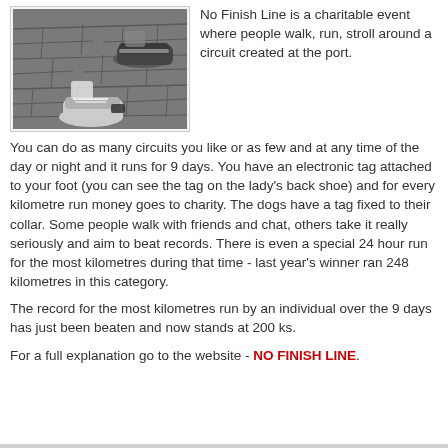[Figure (photo): Close-up photo of a person's feet in sneakers walking on cobblestone/stone pavement, showing an electronic tag on the back shoe.]
No Finish Line is a charitable event where people walk, run, stroll around a circuit created at the port.
You can do as many circuits you like or as few and at any time of the day or night and it runs for 9 days. You have an electronic tag attached to your foot (you can see the tag on the lady's back shoe) and for every kilometre run money goes to charity. The dogs have a tag fixed to their collar. Some people walk with friends and chat, others take it really seriously and aim to beat records. There is even a special 24 hour run for the most kilometres during that time - last year's winner ran 248 kilometres in this category.
The record for the most kilometres run by an individual over the 9 days has just been beaten and now stands at 200 ks.
For a full explanation go to the website - NO FINISH LINE.